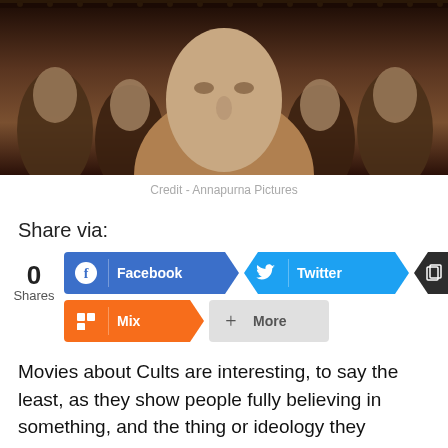[Figure (photo): Movie poster or promotional still showing close-up of a man's face in center with other figures behind, dark dramatic lighting]
Credit - Annapurna Pictures
Share via:
[Figure (infographic): Social share buttons: 0 Shares, Facebook, Twitter, Copy Link, Mix, More]
Movies about Cults are interesting, to say the least, as they show people fully believing in something, and the thing or ideology they believe in is good or not is only clear to the outsiders, and if there are